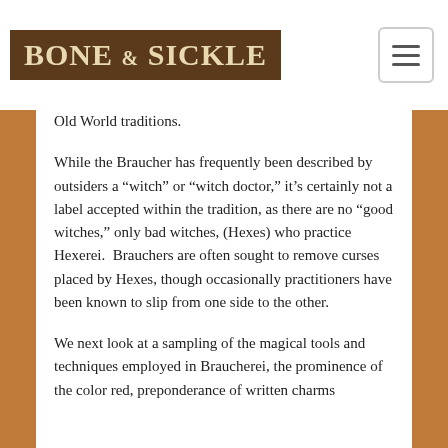BONE & SICKLE
Old World traditions.
While the Braucher has frequently been described by outsiders a “witch” or “witch doctor,” it’s certainly not a label accepted within the tradition, as there are no “good witches,” only bad witches, (Hexes) who practice Hexerei.  Brauchers are often sought to remove curses placed by Hexes, though occasionally practitioners have been known to slip from one side to the other.
We next look at a sampling of the magical tools and techniques employed in Braucherei, the prominence of the color red, preponderance of written charms